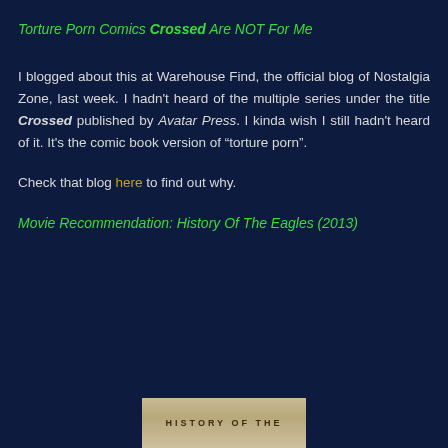Torture Porn Comics Crossed Are NOT For Me
I blogged about this at Warehouse Find, the official blog of Nostalgia Zone, last week. I hadn't heard of the multiple series under the title Crossed published by Avatar Press. I kinda wish I still hadn't heard of it. It's the comic book version of “torture porn”.
Check that blog here to find out why.
Movie Recommendation: History Of The Eagles (2013)
[Figure (photo): Bottom of a movie cover image showing text HISTORY OF THE in stylized letters on a tan/parchment colored background]